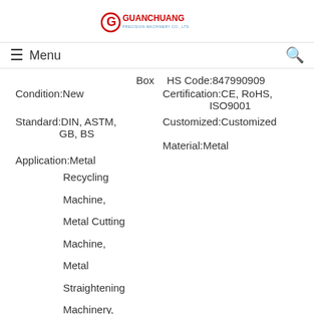GUANCHUANG PRECISION MACHINERY CO., LTD.
Menu
Box   HS Code:847990909
Condition:New   Certification:CE, RoHS, ISO9001
Standard:DIN, ASTM, GB, BS   Customized:Customized
Material:Metal
Application:Metal Recycling Machine, Metal Cutting Machine, Metal Straightening Machinery, Metal Spinning